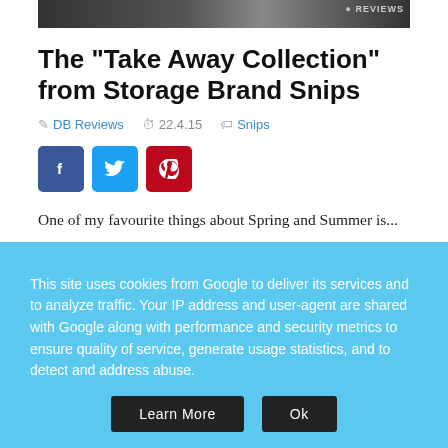[Figure (photo): Top banner image, dark background with partial text/logo visible, appears to be a website header image]
The "Take Away Collection" from Storage Brand Snips
DB Reviews   22.4.15   Snips
[Figure (infographic): Three social share buttons: Facebook (blue), Twitter (light blue), Pinterest (red)]
One of my favourite things about Spring and Summer is... When we do it there's one to...
This site uses cookies from Google to deliver its services and to analyze traffic. Your IP address and user-agent are shared with Google along with performance and security metrics to ensure quality of service, generate usage statistics, and to detect and address abuse.
Learn More   Ok